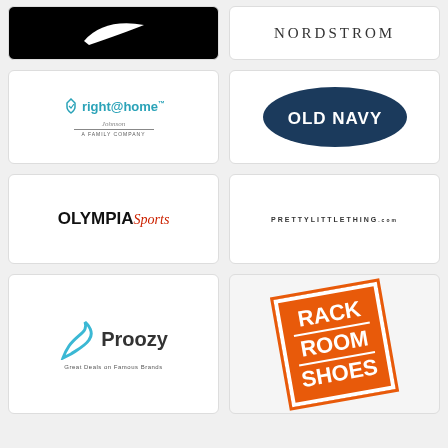[Figure (logo): Nike logo - white swoosh on black background]
[Figure (logo): Nordstrom text logo in serif font with letter spacing]
[Figure (logo): right@home logo in teal with Johnson A Family Company subtitle]
[Figure (logo): Old Navy logo - white bold text on dark navy oval]
[Figure (logo): OLYMPIA Sports logo - bold black OLYMPIA with red italic Sports]
[Figure (logo): PrettyLittleThing.com logo in small spaced letters]
[Figure (logo): Proozy logo with teal P icon and tagline Great Deals on Famous Brands]
[Figure (logo): Rack Room Shoes logo - white text on orange rotated square with border]